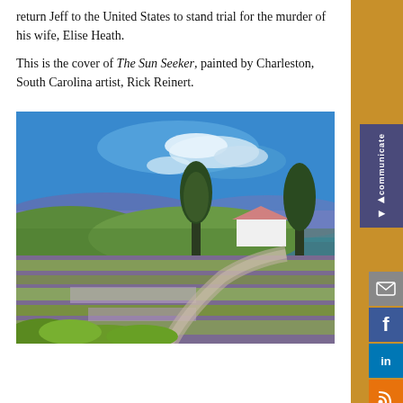return Jeff to the United States to stand trial for the murder of his wife, Elise Heath.
This is the cover of The Sun Seeker, painted by Charleston, South Carolina artist, Rick Reinert.
[Figure (illustration): Oil painting of a sunny rural landscape with bright blue sky, green fields, tall dark trees, a white farmhouse, and a winding path through lavender and green fields in the foreground.]